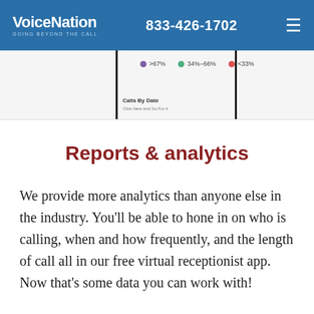VoiceNation GOING BEYOND THE CALL  833-426-1702
[Figure (screenshot): Partial screenshot of a dashboard analytics interface showing legend items: >67% (purple dot), 34%-66% (green dot), <33% (red dot), and a 'Calls By Date' label.]
Reports & analytics
We provide more analytics than anyone else in the industry. You'll be able to hone in on who is calling, when and how frequently, and the length of call all in our free virtual receptionist app. Now that's some data you can work with!